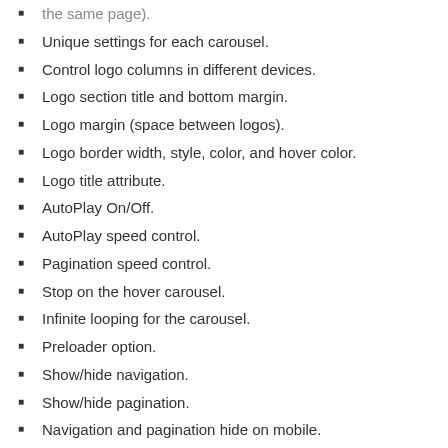the same page).
Unique settings for each carousel.
Control logo columns in different devices.
Logo section title and bottom margin.
Logo margin (space between logos).
Logo border width, style, color, and hover color.
Logo title attribute.
AutoPlay On/Off.
AutoPlay speed control.
Pagination speed control.
Stop on the hover carousel.
Infinite looping for the carousel.
Preloader option.
Show/hide navigation.
Show/hide pagination.
Navigation and pagination hide on mobile.
Navigation color control options.
Pagination dots color and hover color.
Logo order & order by.